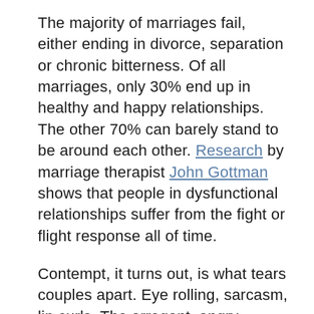The majority of marriages fail, either ending in divorce, separation or chronic bitterness. Of all marriages, only 30% end up in healthy and happy relationships. The other 70% can barely stand to be around each other. Research by marriage therapist John Gottman shows that people in dysfunctional relationships suffer from the fight or flight response all of the time.
Contempt, it turns out, is what tears couples apart. Eye rolling, sarcasm, lip curls. The arrogant, angry disregard of each other. Shutting out. The underlying message to the other person: you don't matter.
And kindness is what keeps couples together. Eye contact, indulgence, a slight smile. The generous, warm acceptance of each other. Making room. The underlying message to the